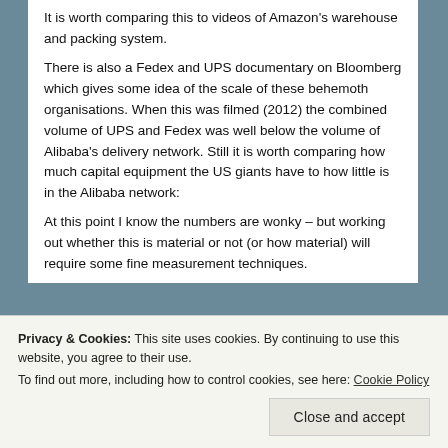It is worth comparing this to videos of Amazon's warehouse and packing system.
There is also a Fedex and UPS documentary on Bloomberg which gives some idea of the scale of these behemoth organisations. When this was filmed (2012) the combined volume of UPS and Fedex was well below the volume of Alibaba's delivery network. Still it is worth comparing how much capital equipment the US giants have to how little is in the Alibaba network:
At this point I know the numbers are wonky – but working out whether this is material or not (or how material) will require some fine measurement techniques.
[Figure (other): Green plugin banner with title 'plugin' and a white button labeled 'Back up your site']
Privacy & Cookies: This site uses cookies. By continuing to use this website, you agree to their use.
To find out more, including how to control cookies, see here: Cookie Policy
[Close and accept]